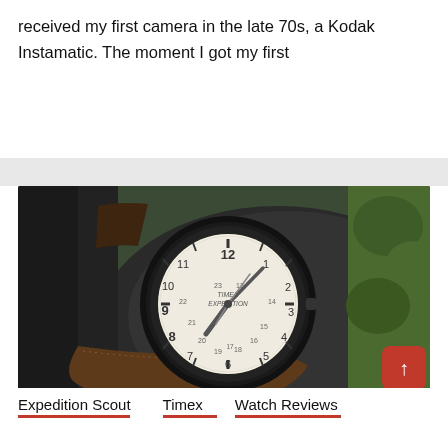received my first camera in the late 70s, a Kodak Instamatic. The moment I got my first
Read More
[Figure (photo): Close-up photo of a Timex Expedition Scout watch with cream dial showing hour markers 1-12 and 24-hour markers, black case, brown leather strap, resting on a black leather surface with green foliage in background]
↑
Expedition Scout
Timex
Watch Reviews